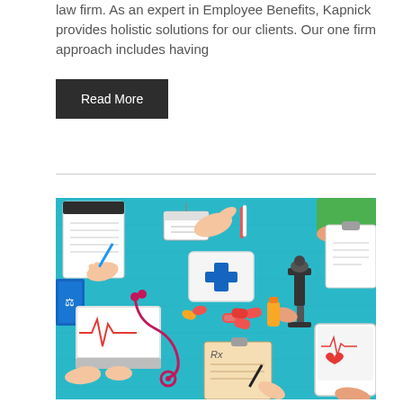law firm. As an expert in Employee Benefits, Kapnick provides holistic solutions for our clients. Our one firm approach includes having
Read More
[Figure (illustration): Top-down flat illustration of a medical/healthcare scene on a blue wooden table. Multiple hands reach in from the edges holding various items. Center features a white first-aid kit with a blue cross. Other items include a stethoscope, laptop showing an ECG readout, microscope, clipboard with Rx prescription form, a tablet showing a heart monitor and red heart icon, pills, test tubes, a pen, a name badge, and a notepad. The overall color scheme is teal/blue with colorful accents.]